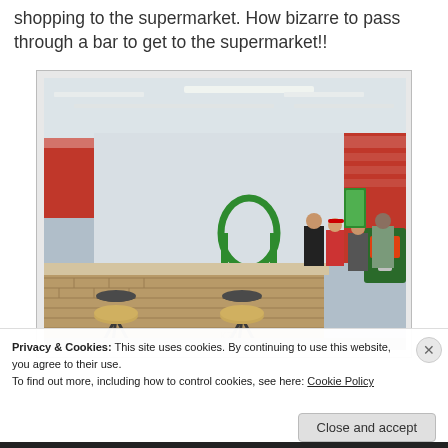shopping to the supermarket. How bizarre to pass through a bar to get to the supermarket!!
[Figure (photo): Interior of a bar/supermarket. A brick-tiled counter bar is in the foreground with two bar stools. Behind the bar, staff in red uniforms are visible. Several customers stand at the bar on the right side. Beyond the bar is a supermarket floor area. Red signage and a gaming machine are visible on the right wall. Fluorescent lighting on the ceiling.]
Privacy & Cookies: This site uses cookies. By continuing to use this website, you agree to their use.
To find out more, including how to control cookies, see here: Cookie Policy
Close and accept